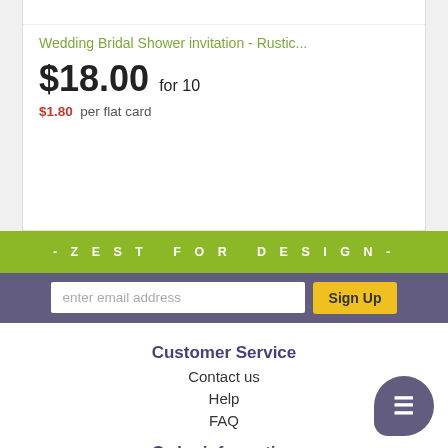Wedding Bridal Shower invitation - Rustic...
$18.00 for 10
$1.80 per flat card
[Figure (screenshot): Green banner with text '- Z E S T F O R D E S I G N -' and purple banner below with email input and Sign Up button]
Customer Service
Contact us
Help
FAQ
Order information
Order Status
Track Your Order